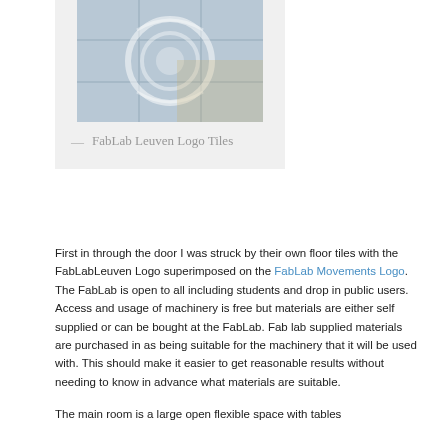[Figure (photo): Photo of floor tiles with the FabLab Leuven logo superimposed on them, shown in a light gray framed box]
— FabLab Leuven Logo Tiles
First in through the door I was struck by their own floor tiles with the FabLabLeuven Logo superimposed on the FabLab Movements Logo.  The FabLab is open to all including students and drop in public users. Access and usage of machinery is free but materials are either self supplied or can be bought at the FabLab. Fab lab supplied materials are purchased in as being suitable for the machinery that it will be used with. This should make it easier to get reasonable results without needing to know in advance what materials are suitable.
The main room is a large open flexible space with tables